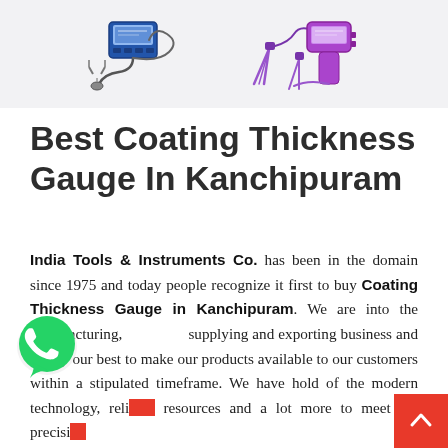[Figure (photo): Product images of coating thickness gauges on a light grey background — left image shows a digital gauge device with probe and cable, right image shows a handheld gauge with accessories]
Best Coating Thickness Gauge In Kanchipuram
India Tools & Instruments Co. has been in the domain since 1975 and today people recognize it first to buy Coating Thickness Gauge in Kanchipuram. We are into the manufacturing, supplying and exporting business and we try our best to make our products available to our customers within a stipulated timeframe. We have hold of the modern technology, reliable resources and a lot more to meet the precision requirements and needs of our customers.